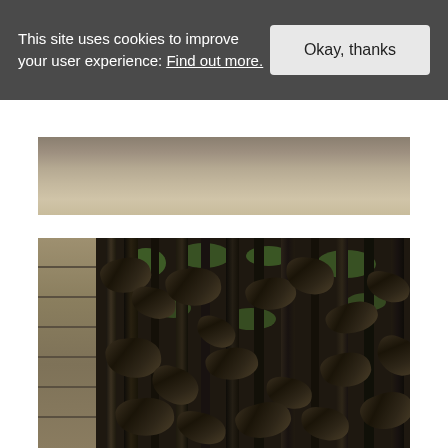This site uses cookies to improve your user experience: Find out more.
[Figure (photo): Partial view of a ground/pavement surface, appears to be sandy or stone-textured ground, cropped at top of frame]
[Figure (photo): Close-up photograph of an ornate dark bronze/metal sculptural gate or fence with organic intertwined forms, next to a stone brick wall on the left. Green foliage visible through the metalwork in the background.]